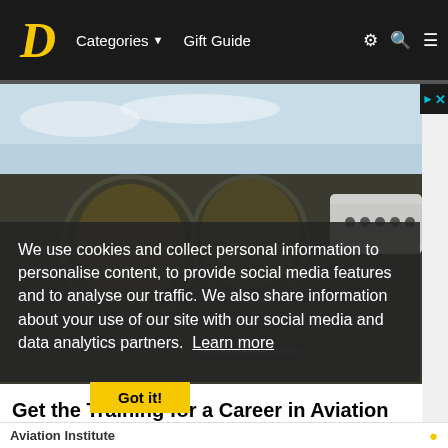D  Categories ▼  Gift Guide  ⚙ 🔍 ≡
[Figure (photo): Close-up photo of aircraft engines/wheels on a tarmac, with a large passenger airplane visible in the background on the right side]
We use cookies and collect personal information to personalise content, to provide social media features and to analyse our traffic. We also share information about your use of our site with our social media and data analytics partners. Learn more
Got it!
Get the Training for a Career in Aviation Mechanics, Airframe & Powerplant. Call Today.
Aviation Institute